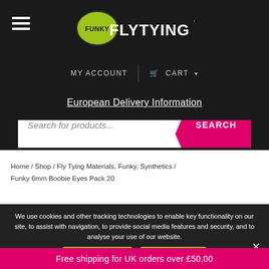[Figure (logo): Funky Fly Tying logo — green leaf shape with 'FUNKY' text and 'FLYTYING' in stylized font on dark background]
MY ACCOUNT  |  🛒 CART ▾
European Delivery Information
Search for products...  SEARCH
Home / Shop / Fly Tying Materials, Funky, Synthetics / Funky 6mm Boobie Eyes Pack 20
We use cookies and other tracking technologies to enable key functionality on our site, to assist with navigation, to provide social media features and security, and to analyse your use of our website.
Accept & Close    Privacy Policy
Free shipping for UK orders over £50.00